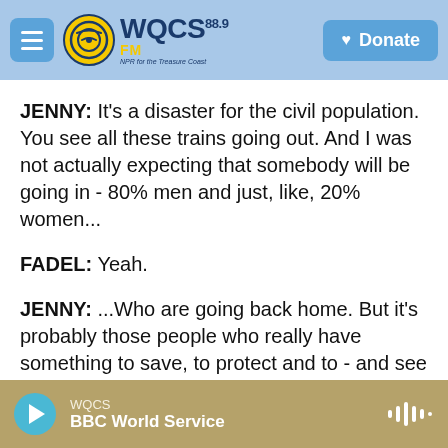WQCS 88.9 FM — NPR for the Treasure Coast | Donate
JENNY: It's a disaster for the civil population. You see all these trains going out. And I was not actually expecting that somebody will be going in - 80% men and just, like, 20% women...
FADEL: Yeah.
JENNY: ...Who are going back home. But it's probably those people who really have something to save, to protect and to - and see their future in Ukraine.
FADEL: Her teenage son is in Lviv.
WQCS — BBC World Service